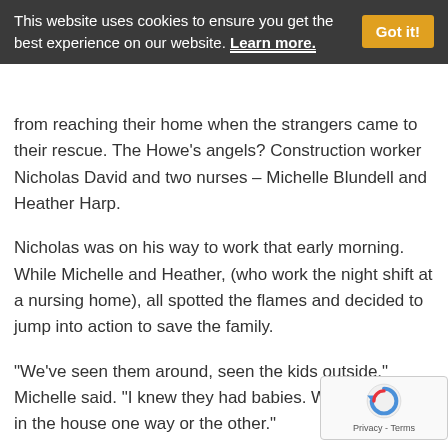This website uses cookies to ensure you get the best experience on our website. Learn more. Got it!
from reaching their home when the strangers came to their rescue. The Howe's angels? Construction worker Nicholas David and two nurses – Michelle Blundell and Heather Harp.
Nicholas was on his way to work that early morning. While Michelle and Heather, (who work the night shift at a nursing home), all spotted the flames and decided to jump into action to save the family.
“We’ve seen them around, seen the kids outside,” Michelle said. “I knew they had babies. We were getting in the house one way or the other.”
This trios determination saved the lives of a family and their dog. The Howe’s all got out safely. The fire department arrived and put out the fire. Thankfully it didn’t reach the Howe home.